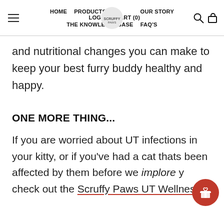HOME  PRODUCTS  OUR STORY  LOG IN  CART (0)  THE KNOWLEDGEBASE  FAQ'S
and nutritional changes you can make to keep your best furry buddy healthy and happy.
ONE MORE THING...
If you are worried about UT infections in your kitty, or if you've had a cat thats been affected by them before we implore y check out the Scruffy Paws UT Wellness